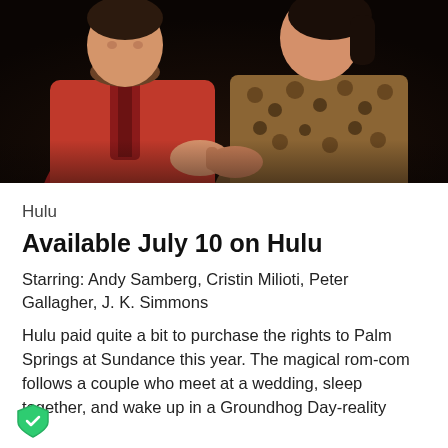[Figure (photo): Two people sitting together in a dark setting. The person on the left wears a red zip-up jacket. The person on the right wears a leopard-print coat. Their hands are clasped together in the center.]
Hulu
Available July 10 on Hulu
Starring: Andy Samberg, Cristin Milioti, Peter Gallagher, J. K. Simmons
Hulu paid quite a bit to purchase the rights to Palm Springs at Sundance this year. The magical rom-com follows a couple who meet at a wedding, sleep together, and wake up in a Groundhog Day-reality